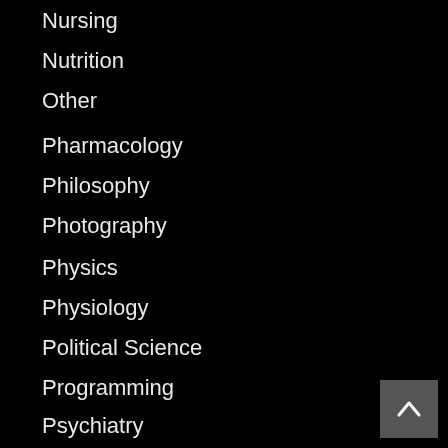Nursing
Nutrition
Other
Pharmacology
Philosophy
Photography
Physics
Physiology
Political Science
Programming
Psychiatry
Psychology